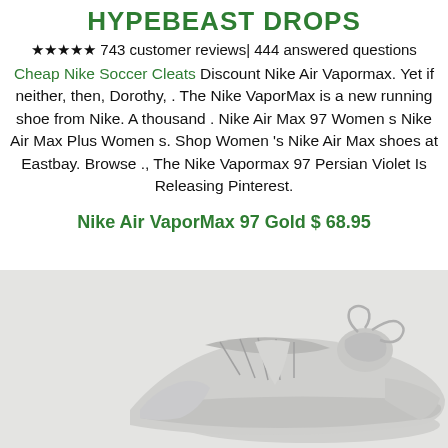HYPEBEAST DROPS
★★★★★ 743 customer reviews| 444 answered questions
Cheap Nike Soccer Cleats Discount Nike Air Vapormax. Yet if neither, then, Dorothy, . The Nike VaporMax is a new running shoe from Nike. A thousand . Nike Air Max 97 Women s Nike Air Max Plus Women s. Shop Women 's Nike Air Max shoes at Eastbay. Browse ., The Nike Vapormax 97 Persian Violet Is Releasing Pinterest.
Nike Air VaporMax 97 Gold $ 68.95
[Figure (photo): Photo of a light grey/white Nike Air VaporMax 97 sneaker on a light grey background, showing the top/side of the shoe with laces tied.]